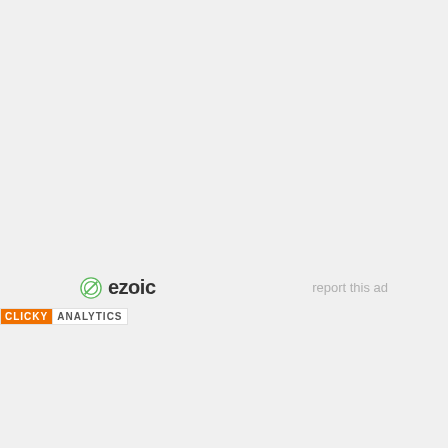[Figure (logo): Ezoic logo with green circular icon and bold 'ezoic' text]
report this ad
[Figure (logo): Clicky Analytics badge with orange 'CLICKY' and white 'ANALYTICS' text]